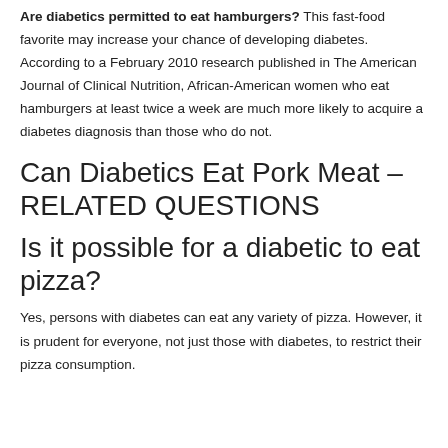Are diabetics permitted to eat hamburgers? This fast-food favorite may increase your chance of developing diabetes. According to a February 2010 research published in The American Journal of Clinical Nutrition, African-American women who eat hamburgers at least twice a week are much more likely to acquire a diabetes diagnosis than those who do not.
Can Diabetics Eat Pork Meat – RELATED QUESTIONS
Is it possible for a diabetic to eat pizza?
Yes, persons with diabetes can eat any variety of pizza. However, it is prudent for everyone, not just those with diabetes, to restrict their pizza consumption.